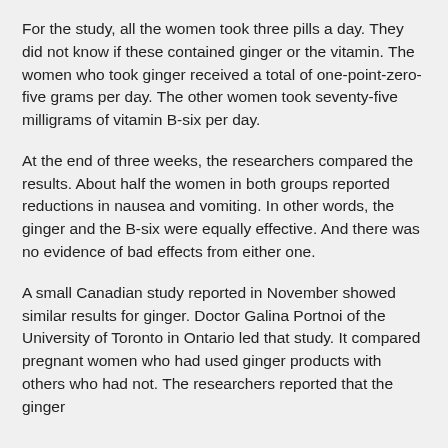For the study, all the women took three pills a day. They did not know if these contained ginger or the vitamin. The women who took ginger received a total of one-point-zero-five grams per day. The other women took seventy-five milligrams of vitamin B-six per day.
At the end of three weeks, the researchers compared the results. About half the women in both groups reported reductions in nausea and vomiting. In other words, the ginger and the B-six were equally effective. And there was no evidence of bad effects from either one.
A small Canadian study reported in November showed similar results for ginger. Doctor Galina Portnoi of the University of Toronto in Ontario led that study. It compared pregnant women who had used ginger products with others who had not. The researchers reported that the ginger